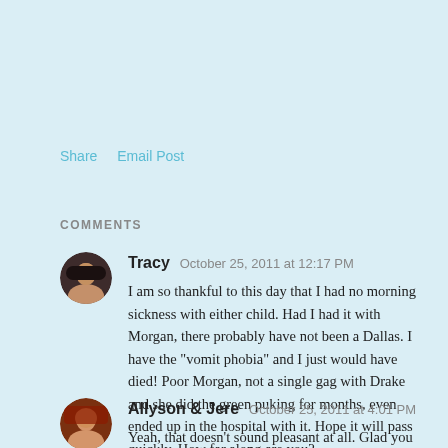Share   Email Post
COMMENTS
Tracy   October 25, 2011 at 12:17 PM

I am so thankful to this day that I had no morning sickness with either child. Had I had it with Morgan, there probably have not been a Dallas. I have the "vomit phobia" and I just would have died! Poor Morgan, not a single gag with Drake and she did the green puking for months, even ended up in the hospital with it. Hope it will pass quickly. How far along are you?
REPLY
Allyson & Jere   October 25, 2011 at 4:01 PM

Yeah, that doesn't sound pleasant at all. Glad you